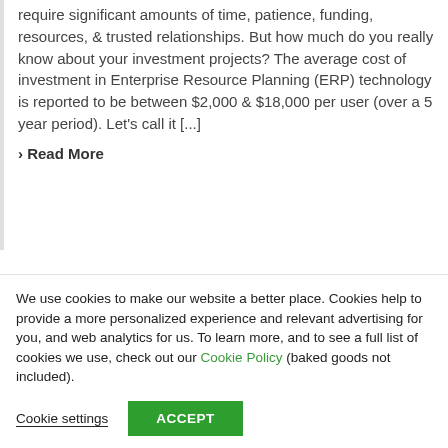require significant amounts of time, patience, funding, resources, & trusted relationships. But how much do you really know about your investment projects? The average cost of investment in Enterprise Resource Planning (ERP) technology is reported to be between $2,000 & $18,000 per user (over a 5 year period). Let's call it [...]
› Read More
We use cookies to make our website a better place. Cookies help to provide a more personalized experience and relevant advertising for you, and web analytics for us. To learn more, and to see a full list of cookies we use, check out our Cookie Policy (baked goods not included).
Cookie settings | ACCEPT